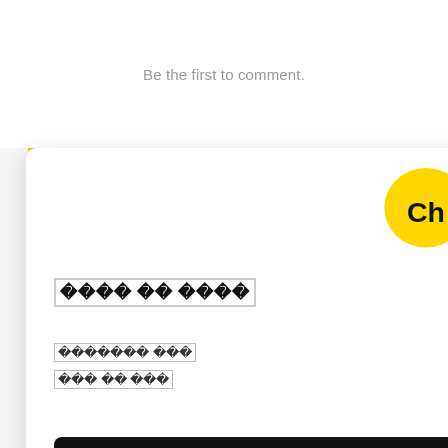Be the first to comment.
[Figure (logo): Channel Talk logo — yellow speech bubble with 'Ch' text in bold black]
[Korean text — modal title, garbled]
[Korean text — description line 1, garbled]
[Korean text — description line 2, garbled]
[Korean text — CTA button with play arrow, garbled]
[Korean text — skip/dismiss button, garbled]